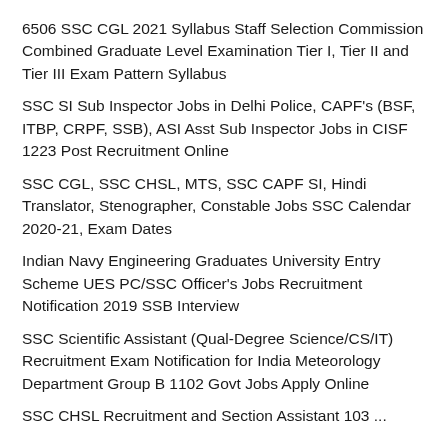6506 SSC CGL 2021 Syllabus Staff Selection Commission Combined Graduate Level Examination Tier I, Tier II and Tier III Exam Pattern Syllabus
SSC SI Sub Inspector Jobs in Delhi Police, CAPF's (BSF, ITBP, CRPF, SSB), ASI Asst Sub Inspector Jobs in CISF 1223 Post Recruitment Online
SSC CGL, SSC CHSL, MTS, SSC CAPF SI, Hindi Translator, Stenographer, Constable Jobs SSC Calendar 2020-21, Exam Dates
Indian Navy Engineering Graduates University Entry Scheme UES PC/SSC Officer's Jobs Recruitment Notification 2019 SSB Interview
SSC Scientific Assistant (Qual-Degree Science/CS/IT) Recruitment Exam Notification for India Meteorology Department Group B 1102 Govt Jobs Apply Online
SSC CHSL Recruitment and Section Assistant 103 ...